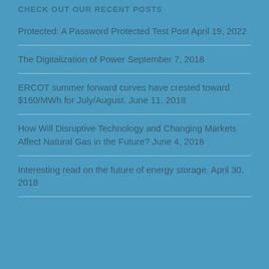CHECK OUT OUR RECENT POSTS
Protected: A Password Protected Test Post April 19, 2022
The Digitalization of Power September 7, 2018
ERCOT summer forward curves have crested toward $160/MWh for July/August. June 11, 2018
How Will Disruptive Technology and Changing Markets Affect Natural Gas in the Future? June 4, 2018
Interesting read on the future of energy storage. April 30, 2018